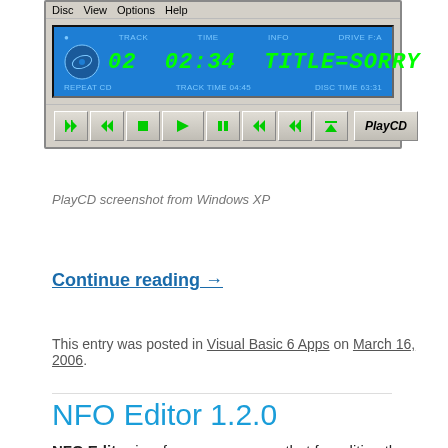[Figure (screenshot): PlayCD application window showing CD player interface with blue LCD display showing TRACK 02, TIME 02:34, INFO TITLE=SORRY, DRIVE F:A, REPEAT CD, TRACK TIME 04:45, DISC TIME 63:31, and playback control buttons]
PlayCD screenshot from Windows XP
Continue reading →
This entry was posted in Visual Basic 6 Apps on March 16, 2006.
NFO Editor 1.2.0
NFO Editor is a freeware program that for editing the NFO files that serve as a base for GRF graphic files for the game